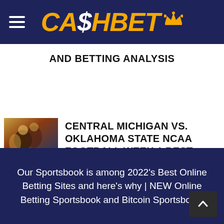CA$HBET
AND BETTING ANALYSIS
[Figure (photo): Football players action photo with text overlay reading 'ALL BETTING: AN CHIPPEWAS VS. OKLAHOMA']
CENTRAL MICHIGAN VS. OKLAHOMA STATE NCAA FOOTBALL WEEK 1 BEST BETS
Our Sportsbook is among 2022's Best Online Betting Sites and here's why | NEW Online Betting Sportsbook and Bitcoin Sportsbook.